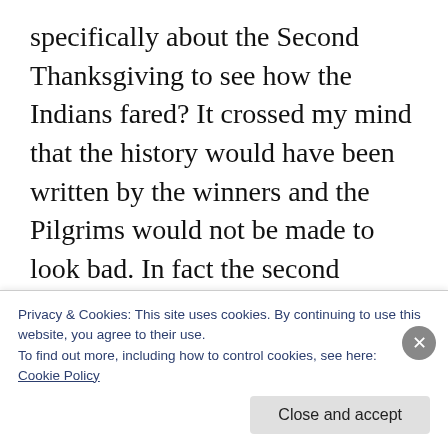specifically about the Second Thanksgiving to see how the Indians fared? It crossed my mind that the history would have been written by the winners and the Pilgrims would not be made to look bad. In fact the second Thanksgiving was written to be more wonderful than the first. An extended drought threatened the Pilgrim's crops. The prayers of the Pilgrims resulted in weeks of rain just in time to salvage the harvest. It's alleged that the treaty between these particular Pilgrims
Privacy & Cookies: This site uses cookies. By continuing to use this website, you agree to their use.
To find out more, including how to control cookies, see here:
Cookie Policy